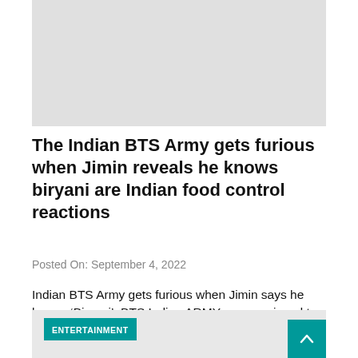[Figure (photo): Gray placeholder image block at the top of the article]
The Indian BTS Army gets furious when Jimin reveals he knows biryani are Indian food control reactions
Posted On: September 4, 2022
Indian BTS Army gets furious when Jimin says he knows ‘Biryani’: BTS Indian ARMY was overjoyed to learn about their favorite Jimin aka Park Jimin’s knowledge of Indian delicacies. South
[Figure (other): Gray card with ENTERTAINMENT category tag in teal, and a scroll-to-top button in teal in the bottom right]